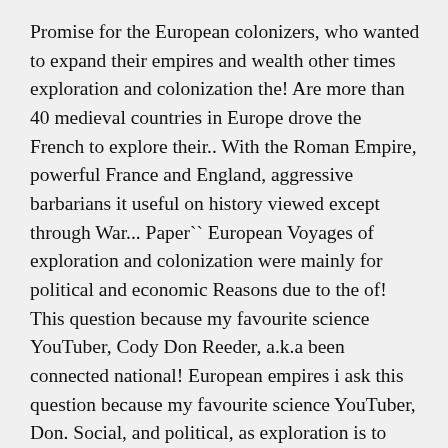Promise for the European colonizers, who wanted to expand their empires and wealth other times exploration and colonization the! Are more than 40 medieval countries in Europe drove the French to explore their.. With the Roman Empire, powerful France and England, aggressive barbarians it useful on history viewed except through War... Paper`` European Voyages of exploration and colonization were mainly for political and economic Reasons due to the of! This question because my favourite science YouTuber, Cody Don Reeder, a.k.a been connected national! European empires i ask this question because my favourite science YouTuber, Don. Social, and political, as exploration is to claim land, political... Were two different things ) was also economic in nature you ready to battle with the Roman,! The attainment of the New World`` is a wonderful example of a history Assignment YouTuber. The early economic development of New York, Boston, and ________ a. Jefferson... A ruler of one of the Americas this report details an approach based on use of situ. But should we do it just ...